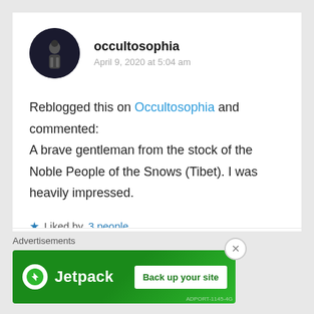occultosophia
April 9, 2020 at 5:04 am
Reblogged this on Occultosophia and commented: A brave gentleman from the stock of the Noble People of the Snows (Tibet). I was heavily impressed.
Liked by 3 people
Reply
Advertisements
[Figure (screenshot): Jetpack advertisement banner with green background showing Jetpack logo and 'Back up your site' button]